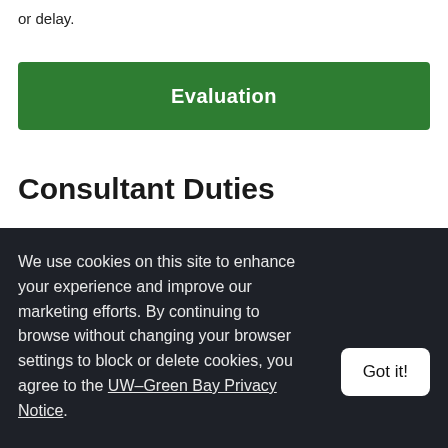or delay.
Evaluation
Consultant Duties
1. The Training Consultant will act as a resource for training issues, concerns and topic specific
We use cookies on this site to enhance your experience and improve our marketing efforts. By continuing to browse without changing your browser settings to block or delete cookies, you agree to the UW–Green Bay Privacy Notice.